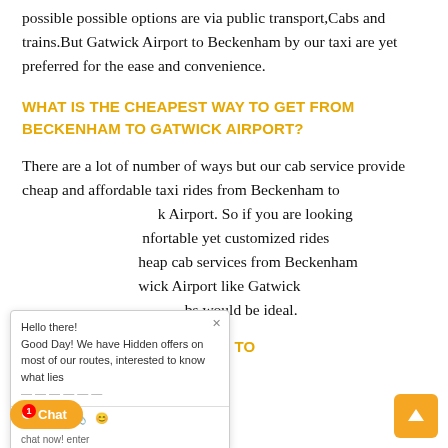possible possible options are via public transport,Cabs and trains.But Gatwick Airport to Beckenham by our taxi are yet preferred for the ease and convenience.
WHAT IS THE CHEAPEST WAY TO GET FROM BECKENHAM TO GATWICK AIRPORT?
There are a lot of number of ways but our cab service provide cheap and affordable taxi rides from Beckenham to Gatwick Airport. So if you are looking for comfortable yet customized rides cheap cab services from Beckenham to Gatwick Airport like Gatwick cabs would be ideal.
WHAT IS THE FASTEST WAY TO